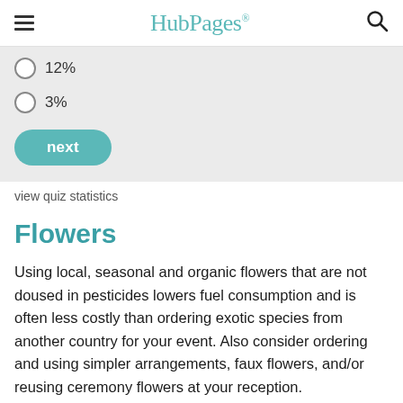HubPages
12%
3%
next
view quiz statistics
Flowers
Using local, seasonal and organic flowers that are not doused in pesticides lowers fuel consumption and is often less costly than ordering exotic species from another country for your event. Also consider ordering and using simpler arrangements, faux flowers, and/or reusing ceremony flowers at your reception.
This could be as simple as picking up flowers at the grocery store or wholesale grocer like Costco and making your